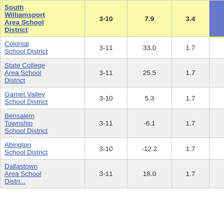| School District | Grades | Col3 | Col4 | Col5 | Col6(partial) |
| --- | --- | --- | --- | --- | --- |
| South Williamsport Area School District | 3-10 | 7.9 | 3.4 | 2.35 | 2... |
| Colonial School District | 3-11 | 33.0 | 1.7 | 19.38 |  |
| State College Area School District | 3-11 | 25.5 | 1.7 | 14.92 |  |
| Garnet Valley School District | 3-10 | 5.3 | 1.7 | 3.08 |  |
| Bensalem Township School District | 3-11 | -6.1 | 1.7 | -3.53 |  |
| Abington School District | 3-10 | -12.2 | 1.7 | -7.08 |  |
| Dallastown Area School District | 3-11 | 18.0 | 1.7 | 10.45 |  |